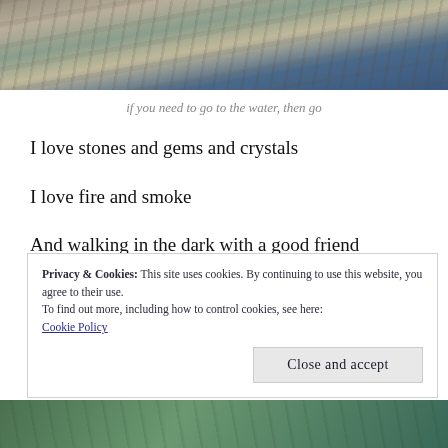[Figure (photo): Aerial or elevated view of a beach/shoreline with sand, driftwood logs, and ocean water visible]
if you need to go to the water, then go
I love stones and gems and crystals
I love fire and smoke
And walking in the dark with a good friend
Privacy & Cookies: This site uses cookies. By continuing to use this website, you agree to their use.
To find out more, including how to control cookies, see here:
Cookie Policy
Close and accept
[Figure (photo): Partial view of a photo at the bottom of the page, appears to show green/teal outdoor scene]